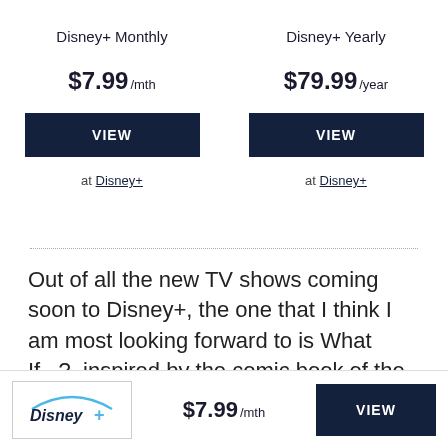Disney+ Monthly
$7.99 /mth
VIEW
at Disney+
Disney+ Yearly
$79.99 /year
VIEW
at Disney+
Out of all the new TV shows coming soon to Disney+, the one that I think I am most looking forward to is What If...?, inspired by the comic book of the same name. It is described as a 10-episode animated anthology series that reimagines key events canon to the Marvel Cinematic Universe had things gone a little
[Figure (logo): Disney+ logo in a bordered box]
$7.99 /mth
VIEW